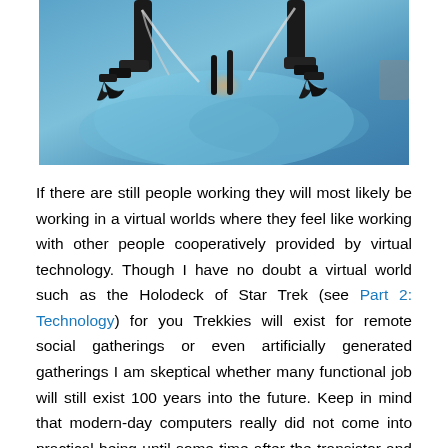[Figure (photo): Robotic surgical arms operating on a patient, with robotic black mechanical arms and blue surgical draping visible, in a medical operating room setting.]
If there are still people working they will most likely be working in a virtual worlds where they feel like working with other people cooperatively provided by virtual technology. Though I have no doubt a virtual world such as the Holodeck of Star Trek (see Part 2: Technology) for you Trekkies will exist for remote social gatherings or even artificially generated gatherings I am skeptical whether many functional job will still exist 100 years into the future. Keep in mind that modern-day computers really did not come into practical being until some time after the transistor and integrated circuit were invented about 50